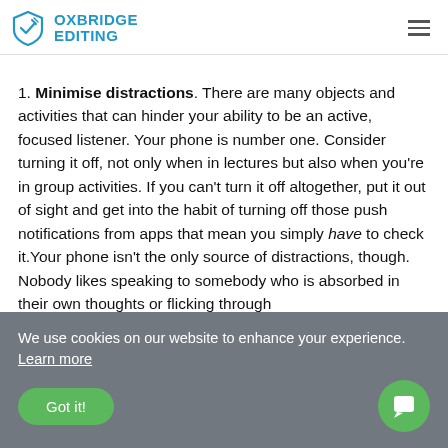OXBRIDGE EDITING
1. Minimise distractions. There are many objects and activities that can hinder your ability to be an active, focused listener. Your phone is number one. Consider turning it off, not only when in lectures but also when you're in group activities. If you can't turn it off altogether, put it out of sight and get into the habit of turning off those push notifications from apps that mean you simply have to check it.Your phone isn't the only source of distractions, though. Nobody likes speaking to somebody who is absorbed in their own thoughts or flicking through
We use cookies on our website to enhance your experience. Learn more